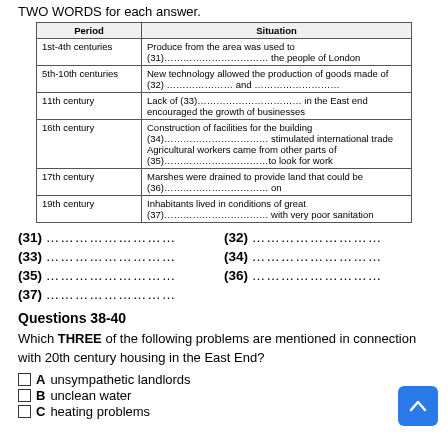TWO WORDS for each answer.
| Period | Situation |
| --- | --- |
| 1st-4th centuries | Produce from the area was used to (31)…………………………… the people of London |
| 5th-10th centuries | New technology allowed the production of goods made of (32) ………………… and ……………………… |
| 11th century | Lack of (33)…………………………… in the East end encouraged the growth of businesses |
| 16th century | Construction of facilities for the building (34)…………………………… stimulated international trade
Agricultural workers came from other parts of (35)……………………………to look for work |
| 17th century | Marshes were drained to provide land that could be (36)…………………………… on |
| 19th century | Inhabitants lived in conditions of great (37)…………………………… with very poor sanitation |
(31) …………………………
(32) …………………………
(33) …………………………
(34) …………………………
(35) …………………………
(36) …………………………
(37) …………………………
Questions 38-40
Which THREE of the following problems are mentioned in connection with 20th century housing in the East End?
A unsympathetic landlords
B unclean water
C heating problems